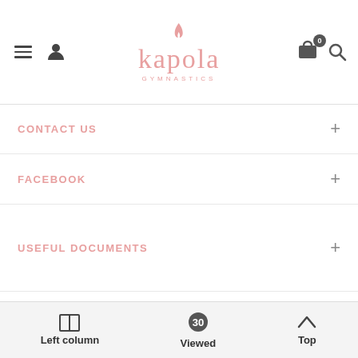Kapola Gymnastics - navigation header with logo, hamburger menu, user icon, cart (0), and search icon
CONTACT US
FACEBOOK
USEFUL DOCUMENTS
CATALOG
NEWSLETTER
GET SOCIAL
Left column   Viewed 30   Top